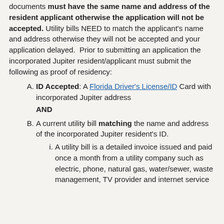documents must have the same name and address of the resident applicant otherwise the application will not be accepted. Utility bills NEED to match the applicant's name and address otherwise they will not be accepted and your application delayed. Prior to submitting an application the incorporated Jupiter resident/applicant must submit the following as proof of residency:
ID Accepted: A Florida Driver's License/ID Card with incorporated Jupiter address AND
A current utility bill matching the name and address of the incorporated Jupiter resident's ID.
A utility bill is a detailed invoice issued and paid once a month from a utility company such as electric, phone, natural gas, water/sewer, waste management, TV provider and internet service